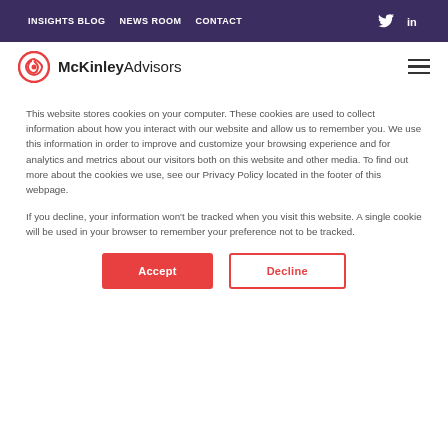INSIGHTS BLOG  NEWS ROOM  CONTACT
[Figure (logo): McKinley Advisors logo with red spiral icon]
6. Rely on data and metrics for objective progress points
This website stores cookies on your computer. These cookies are used to collect information about how you interact with our website and allow us to remember you. We use this information in order to improve and customize your browsing experience and for analytics and metrics about our visitors both on this website and other media. To find out more about the cookies we use, see our Privacy Policy located in the footer of this webpage.
If you decline, your information won’t be tracked when you visit this website. A single cookie will be used in your browser to remember your preference not to be tracked.